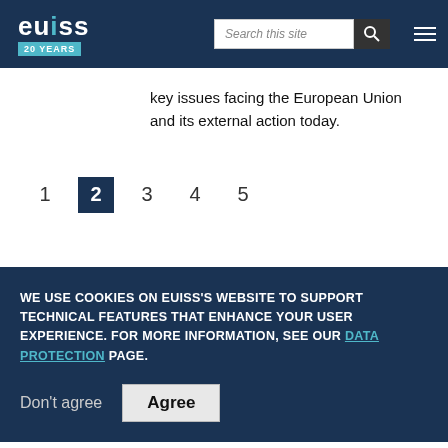EUISS 20 YEARS | Search this site
key issues facing the European Union and its external action today.
1 2 3 4 5
WE USE COOKIES ON EUISS'S WEBSITE TO SUPPORT TECHNICAL FEATURES THAT ENHANCE YOUR USER EXPERIENCE. FOR MORE INFORMATION, SEE OUR DATA PROTECTION PAGE.
Don't agree | Agree